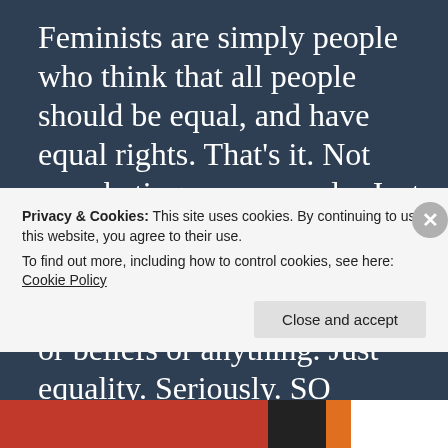Feminists are simply people who think that all people should be equal, and have equal rights. That’s it. Not men-hating crazy people. Just equality. It says nothing about what job is “appropriate” or what fashion a person wears or beliefs or anything. Just equality. Seriously. SO MANY people use it the wrong way and have no idea what it is. Educate
Privacy & Cookies: This site uses cookies. By continuing to use this website, you agree to their use. To find out more, including how to control cookies, see here: Cookie Policy
Close and accept